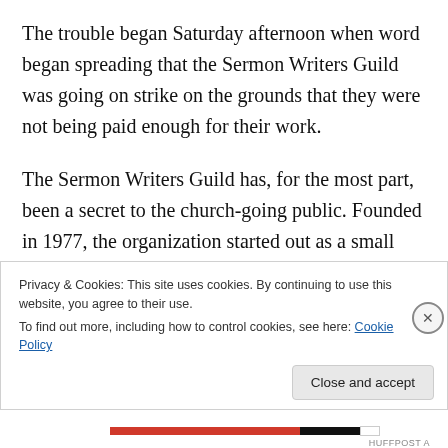The trouble began Saturday afternoon when word began spreading that the Sermon Writers Guild was going on strike on the grounds that they were not being paid enough for their work.
The Sermon Writers Guild has, for the most part, been a secret to the church-going public. Founded in 1977, the organization started out as a small group of theologians and laypersons who were “gifted and creative in the art of preaching” but lacked the charisma necessary to pastor and lead a congregation. When the group was formed
Privacy & Cookies: This site uses cookies. By continuing to use this website, you agree to their use.
To find out more, including how to control cookies, see here: Cookie Policy
Close and accept